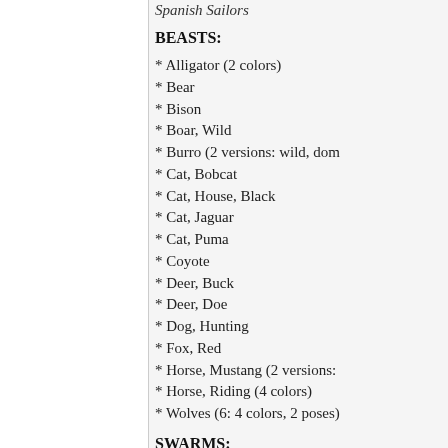Spanish Sailors
BEASTS:
* Alligator (2 colors)
* Bear
* Bison
* Boar, Wild
* Burro (2 versions: wild, dom
* Cat, Bobcat
* Cat, House, Black
* Cat, Jaguar
* Cat, Puma
* Coyote
* Deer, Buck
* Deer, Doe
* Dog, Hunting
* Fox, Red
* Horse, Mustang (2 versions:
* Horse, Riding (4 colors)
* Wolves (6: 4 colors, 2 poses)
SWARMS: